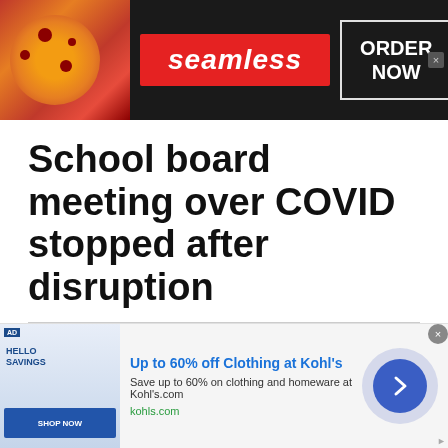[Figure (screenshot): Seamless food delivery advertisement banner with pizza image on left, Seamless red logo in center, ORDER NOW button on right, dark background]
School board meeting over COVID stopped after disruption
By: Margaret Austin, Wyoming Tribune Eagle via Wyoming News Exchange - Updated: 1 year ago
Posted Aug 4, 2021
[Figure (illustration): Social sharing icons: Facebook (blue), Twitter (light blue), Email (blue)]
[Figure (screenshot): Kohl's advertisement: Up to 60% off Clothing at Kohl's. Save up to 60% on clothing and homeware at Kohls.com. kohls.com with navigation arrow button.]